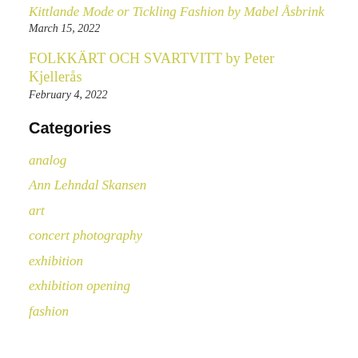Kittlande Mode or Tickling Fashion by Mabel Åsbrink
March 15, 2022
FOLKKÄRT OCH SVARTVITT by Peter Kjellerås
February 4, 2022
Categories
analog
Ann Lehndal Skansen
art
concert photography
exhibition
exhibition opening
fashion